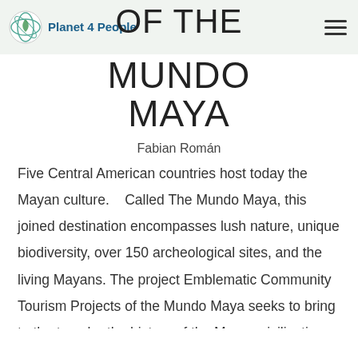Planet 4 People
OF THE MUNDO MAYA
Fabian Román
Five Central American countries host today the Mayan culture.    Called The Mundo Maya, this joined destination encompasses lush nature, unique biodiversity, over 150 archeological sites, and the living Mayans. The project Emblematic Community Tourism Projects of the Mundo Maya seeks to bring to the traveler the history of the Mayan civilization, while experiencing first hand